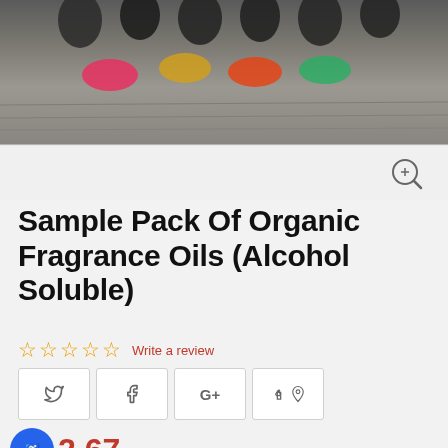[Figure (photo): Product photo of organic fragrance oils with colored liquid bowls on a wooden surface, viewed from above. Below is a thumbnail strip with a zoom icon.]
Sample Pack Of Organic Fragrance Oils (Alcohol Soluble)
☆☆☆☆☆ Write a review
Social share buttons: Twitter, Facebook, Google+, Pinterest
$2.67